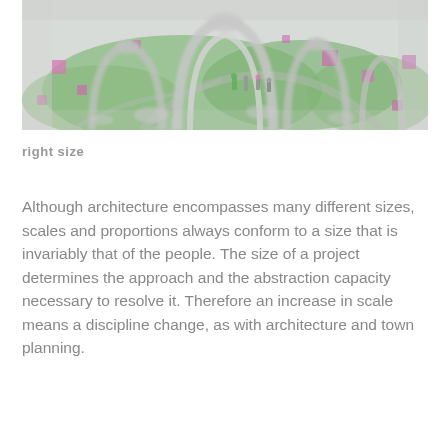[Figure (illustration): Aerial/bird's-eye view architectural rendering showing a green landscape with metallic sculptural arch structures, small human figures, and pink cubic elements scattered across the scene. The image is partially faded/greyed at the edges.]
right size
Although architecture encompasses many different sizes, scales and proportions always conform to a size that is invariably that of the people. The size of a project determines the approach and the abstraction capacity necessary to resolve it. Therefore an increase in scale means a discipline change, as with architecture and town planning.